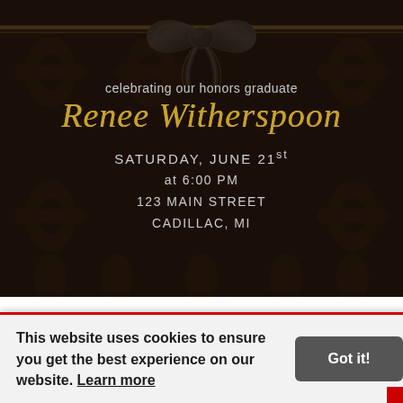[Figure (illustration): Elegant graduation party invitation with black damask background pattern, gold ribbon with black bow at top, gold script name 'Renee Witherspoon', event details for Saturday June 21st at 6:00 PM, 123 Main Street, Cadillac MI]
celebrating our honors graduate
Renee Witherspoon
SATURDAY, JUNE 21st
at 6:00 PM
123 MAIN STREET
CADILLAC, MI
This website uses cookies to ensure you get the best experience on our website. Learn more